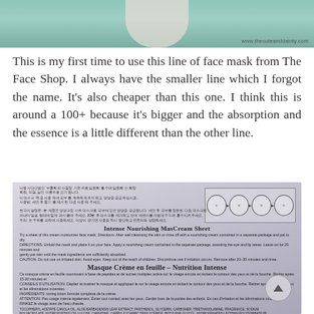[Figure (photo): Top portion of a product photo showing a green background with a skin-colored neck/face shape and watermark www.thecuteanddainty.com]
This is my first time to use this line of face mask from The Face Shop. I always have the smaller line which I forgot the name. It's also cheaper than this one. I think this is around a 100+ because it's bigger and the absorption and the essence is a little different than the other line.
[Figure (photo): Photo of the back of a face mask product package showing Korean text, English and French product descriptions: Intense Nourishing MasCream Sheet / Masque Crème en feuille – Nutrition Intense, with directions and ingredients list, and step-by-step usage illustrations]